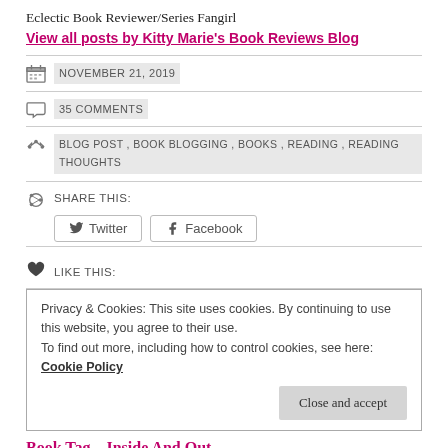Eclectic Book Reviewer/Series Fangirl
View all posts by Kitty Marie's Book Reviews Blog
NOVEMBER 21, 2019
35 COMMENTS
BLOG POST , BOOK BLOGGING , BOOKS , READING , READING THOUGHTS
SHARE THIS:
Twitter
Facebook
LIKE THIS:
Privacy & Cookies: This site uses cookies. By continuing to use this website, you agree to their use.
To find out more, including how to control cookies, see here: Cookie Policy
Close and accept
Book Tag – Inside And Out